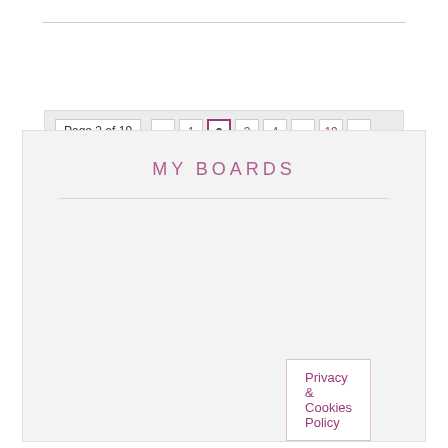Page 2 of 19  «  1  2  3  4  ...  19  »
MY BOARDS
Privacy & Cookies Policy